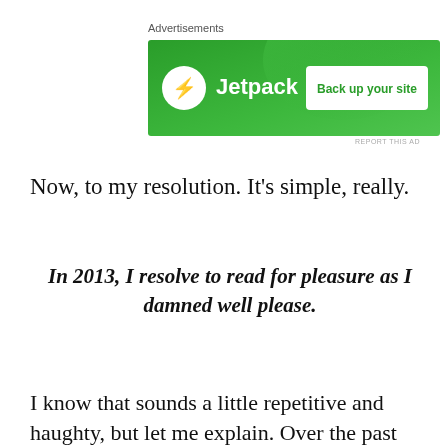Advertisements
[Figure (screenshot): Jetpack advertisement banner with green background, Jetpack logo on left and 'Back up your site' button on right]
Now, to my resolution. It’s simple, really.
In 2013, I resolve to read for pleasure as I damned well please.
I know that sounds a little repetitive and haughty, but let me explain. Over the past year, the work I do has been
Privacy & Cookies: This site uses cookies. By continuing to use this website, you agree to their use.
To find out more, including how to control cookies, see here: Cookie Policy
Close and accept